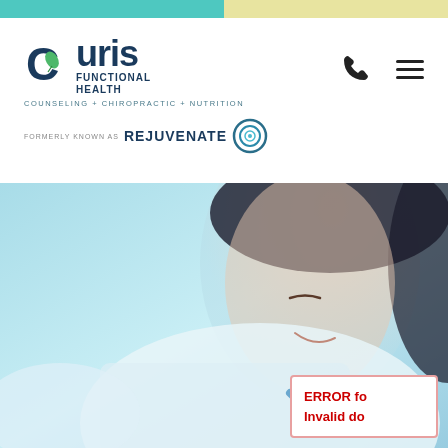[Figure (logo): Curis Functional Health logo with teal C-circle icon, navy text reading 'Curis FUNCTIONAL HEALTH', tagline 'COUNSELING + CHIROPRACTIC + NUTRITION', and 'FORMERLY KNOWN AS REJUVENATE' with spiral logo]
[Figure (photo): Hero image of a smiling female healthcare professional in white coat with blue stethoscope, with a light blue/teal color wash overlay]
ERROR fo
Invalid do